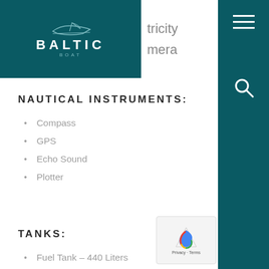[Figure (logo): Baltic Boat logo on teal background with boat silhouette icon above BALTIC text]
NAUTICAL INSTRUMENTS:
Compass
GPS
Echo Sound
Plotter
TANKS:
Fuel Tank – 440 Liters
Freshwater Tank – 280 Liters